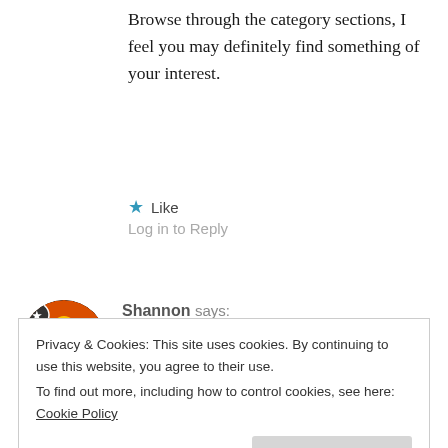Browse through the category sections, I feel you may definitely find something of your interest.
★ Like
Log in to Reply
Shannon says: August 7, 2013 at 11:37 am
Thank you! You have some great stuff on your blog. 🙂
Privacy & Cookies: This site uses cookies. By continuing to use this website, you agree to their use.
To find out more, including how to control cookies, see here: Cookie Policy
Close and accept
August 8, 2013 at 12:55 am